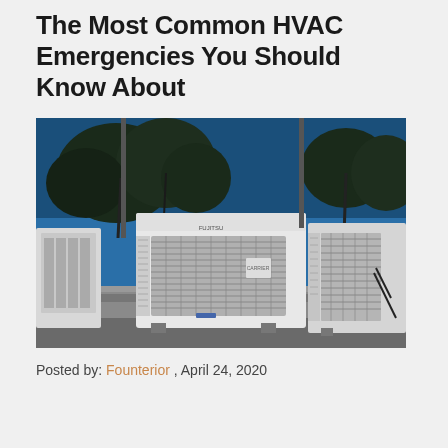The Most Common HVAC Emergencies You Should Know About
[Figure (photo): Outdoor HVAC condenser units mounted on a concrete ledge, with dark trees and blue sky in the background. Two white Fujitsu-branded AC units visible.]
Posted by: Founterior , April 24, 2020